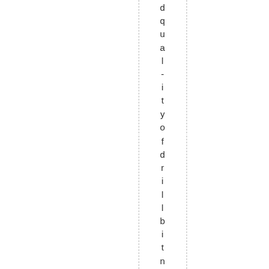d q u a l - i t y o f d r i l l b i t n e e d e d . Y o u g u